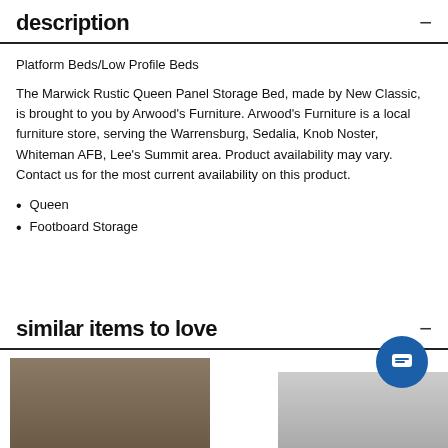description
Platform Beds/Low Profile Beds
The Marwick Rustic Queen Panel Storage Bed, made by New Classic, is brought to you by Arwood's Furniture. Arwood's Furniture is a local furniture store, serving the Warrensburg, Sedalia, Knob Noster, Whiteman AFB, Lee's Summit area. Product availability may vary. Contact us for the most current availability on this product.
Queen
Footboard Storage
similar items to love
[Figure (photo): Partial view of a dark wood bed frame at bottom left]
[Figure (photo): Partial view of a light gray/beige furniture item at bottom right]